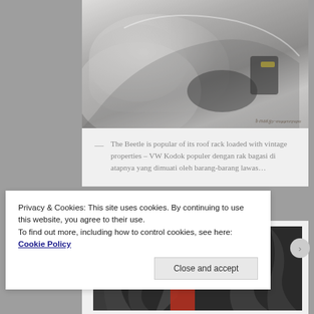[Figure (photo): Close-up photograph of a white VW Beetle (Kodok) showing roof rack area, with watermark text in bottom right]
— The Beetle is popular of its roof rack loaded with vintage properties – VW Kodok populer dengan rak bagasi di atapnya yang dimuati oleh barang-barang lawas…
[Figure (photo): Partially visible dark photograph, appears to show a scene with foliage and a red object]
Privacy & Cookies: This site uses cookies. By continuing to use this website, you agree to their use.
To find out more, including how to control cookies, see here: Cookie Policy